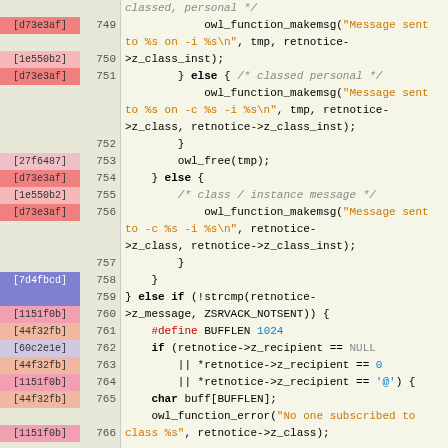[Figure (screenshot): Source code viewer showing C code lines 749-771 with git blame hash annotations. Lines have colored hash labels on the left (pink/blue indicating different commits), line numbers in the center column, and syntax-highlighted C code on the right.]